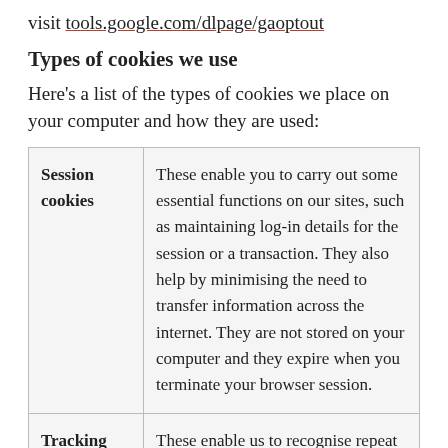visit tools.google.com/dlpage/gaoptout
Types of cookies we use
Here's a list of the types of cookies we place on your computer and how they are used:
| Cookie type | Description |
| --- | --- |
| Session cookies | These enable you to carry out some essential functions on our sites, such as maintaining log-in details for the session or a transaction. They also help by minimising the need to transfer information across the internet. They are not stored on your computer and they expire when you terminate your browser session. |
| Tracking cookies | These enable us to recognise repeat visitors to the site. By matching an anonymous, randomly generated identifier, we're able to record specific browsing information such as how you |